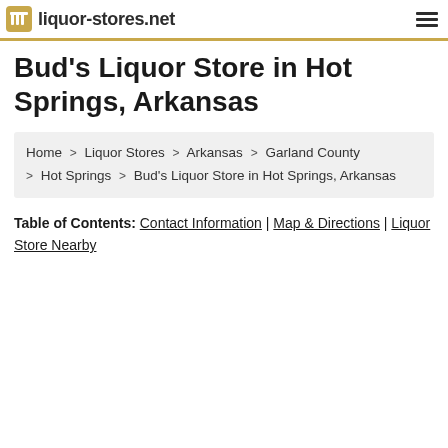liquor-stores.net
Bud's Liquor Store in Hot Springs, Arkansas
Home > Liquor Stores > Arkansas > Garland County > Hot Springs > Bud's Liquor Store in Hot Springs, Arkansas
Table of Contents: Contact Information | Map & Directions | Liquor Store Nearby